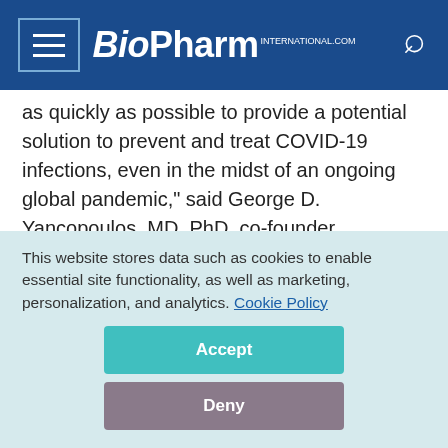BioPharm International
as quickly as possible to provide a potential solution to prevent and treat COVID-19 infections, even in the midst of an ongoing global pandemic," said George D. Yancopoulos, MD, PhD, co-founder, president, and chief scientific officer of Regeneron, in the press release. "We are pleased to collaborate with NIAID to study REGN-COV2 in our quest to further prevent the spread of the virus with an anti-viral antibody cocktail that could be available much sooner than a vaccine."
This website stores data such as cookies to enable essential site functionality, as well as marketing, personalization, and analytics. Cookie Policy
Accept
Deny